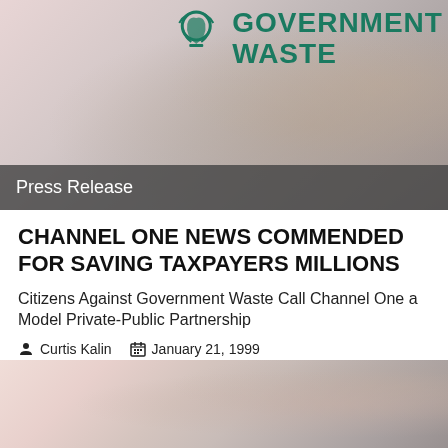[Figure (photo): Citizens Against Government Waste logo on a blurred background with coins. Logo shows teal/green text reading 'CITIZENS AGAINST GOVERNMENT WASTE' with a hand/trash icon.]
Press Release
CHANNEL ONE NEWS COMMENDED FOR SAVING TAXPAYERS MILLIONS
Citizens Against Government Waste Call Channel One a Model Private-Public Partnership
Curtis Kalin   January 21, 1999
[Figure (photo): Bottom portion of coins/change photograph, blurred, pinkish-grey tones.]